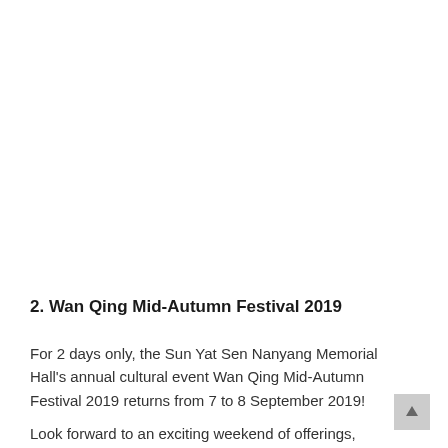2. Wan Qing Mid-Autumn Festival 2019
For 2 days only, the Sun Yat Sen Nanyang Memorial Hall's annual cultural event Wan Qing Mid-Autumn Festival 2019 returns from 7 to 8 September 2019!
Look forward to an exciting weekend of offerings,